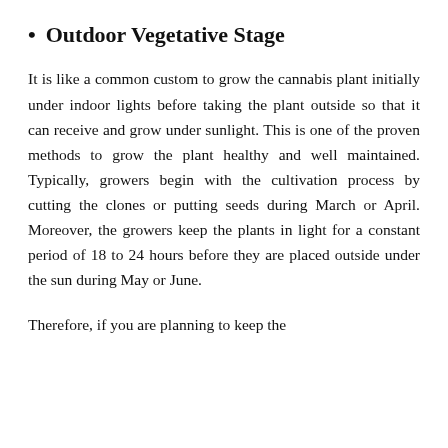Outdoor Vegetative Stage
It is like a common custom to grow the cannabis plant initially under indoor lights before taking the plant outside so that it can receive and grow under sunlight. This is one of the proven methods to grow the plant healthy and well maintained. Typically, growers begin with the cultivation process by cutting the clones or putting seeds during March or April. Moreover, the growers keep the plants in light for a constant period of 18 to 24 hours before they are placed outside under the sun during May or June.
Therefore, if you are planning to keep the